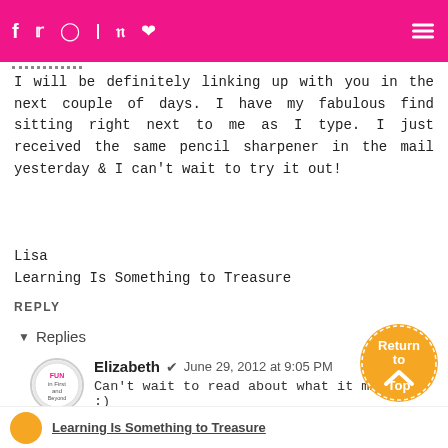Social media icons and site navigation header bar
I will be definitely linking up with you in the next couple of days. I have my fabulous find sitting right next to me as I type. I just received the same pencil sharpener in the mail yesterday & I can't wait to try it out!
Lisa
Learning Is Something to Treasure
REPLY
▾ Replies
Elizabeth ✔ June 29, 2012 at 9:05 PM
Can't wait to read about what it might be :)
Reply
[Figure (logo): Return to Top button - orange circle with white text and chevron up arrow]
Bottom navigation bar with avatar and linked text